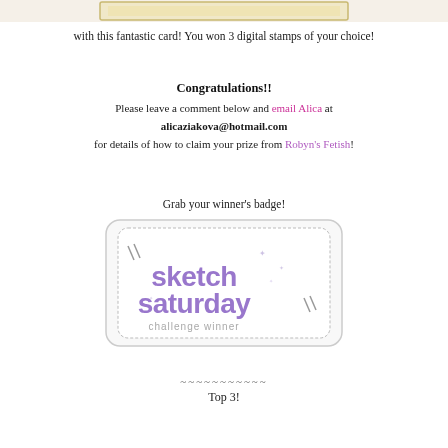[Figure (illustration): Top portion of a card image, partially visible at the top of the page — gold/tan bordered card cropped]
with this fantastic card! You won 3 digital stamps of your choice!
Congratulations!!
Please leave a comment below and email Alica at
alicaziakova@hotmail.com
for details of how to claim your prize from Robyn's Fetish!
Grab your winner's badge!
[Figure (logo): Sketch Saturday challenge winner badge — rounded rectangle with purple decorative text reading 'sketch saturday challenge winner' with star/asterisk decorations]
~~~~~~~~~~~
Top 3!